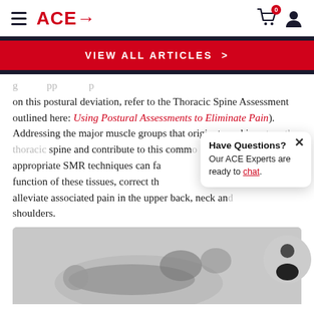ACE→ [navigation header with cart and user icons]
VIEW ALL ARTICLES >
on this postural deviation, refer to the Thoracic Spine Assessment outlined here: Using Postural Assessments to Eliminate Pain). Addressing the major muscle groups that originate and insert on the thoracic spine and contribute to this common appropriate SMR techniques can fa function of these tissues, correct th alleviate associated pain in the upper back, neck and shoulders.
[Figure (photo): Person lying on their back performing a thoracic spine stretch/SMR exercise with hands behind head and knees bent]